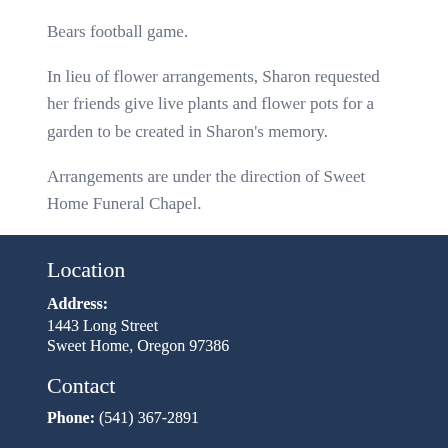Bears football game.
In lieu of flower arrangements, Sharon requested her friends give live plants and flower pots for a garden to be created in Sharon's memory.
Arrangements are under the direction of Sweet Home Funeral Chapel.
Location
Address:
1443 Long Street
Sweet Home, Oregon 97386
Contact
Phone: (541) 367-2891